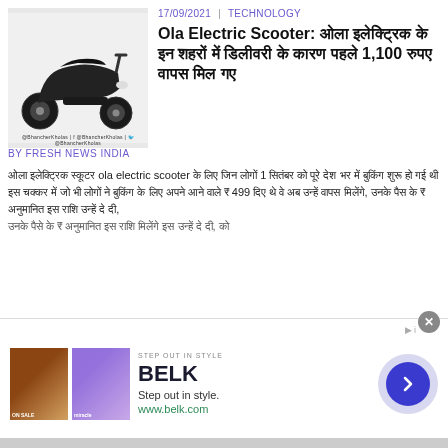[Figure (photo): Black electric scooter (Ola) on white background with social media watermarks at bottom]
17/09/2021 | TECHNOLOGY
Ola Electric Scooter: ओला इलेक्ट्रिक के इन शहरों में डिलीवरी के कारण पहले 1,100 रुपए वापस मिल गए
BY FRESH NEWS INDIA
ओला इलेक्ट्रिक स्कूटर ola electric scooter के लिए जिन लोगों 1 सितंबर को पूरे देश भर में बुकिंग शुरू हो गई थी इस चक्कर में जो भी लोगों ने बुकिंग के लिए अपने आने वाले ₹ 499 दिए थे वे अब उन्हें वापस मिलेंगे, उनके पैस के ₹ अनुमानित इस राशि उन्हें दे दी,
[Figure (screenshot): Advertisement banner for BELK - Step out in style. Shows BELK brand name, tagline 'Step out in style.', URL www.belk.com, two fashion product images, and a blue circular arrow button. Has a close (X) button and ad indicator icon.]